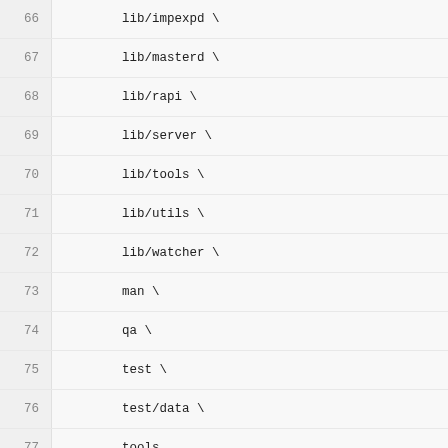Code listing lines 66-91 of a Makefile showing BUILDTIME_DIR_AUTOCREATE and BUILDTIME_DIRS variable assignments with directory paths